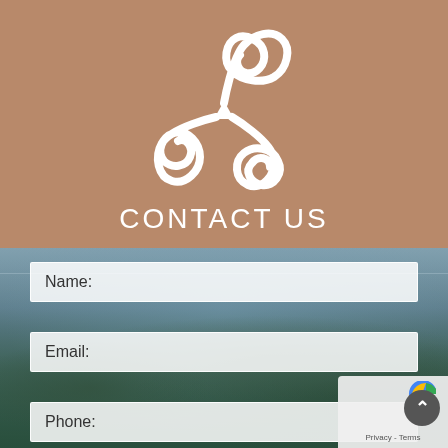[Figure (logo): Celtic triskelion / triskele symbol in white on brown background]
CONTACT US
[Figure (photo): Landscape background photo showing a lake/river with forested hills and misty sky in blue-green tones]
Name:
Email:
Phone: